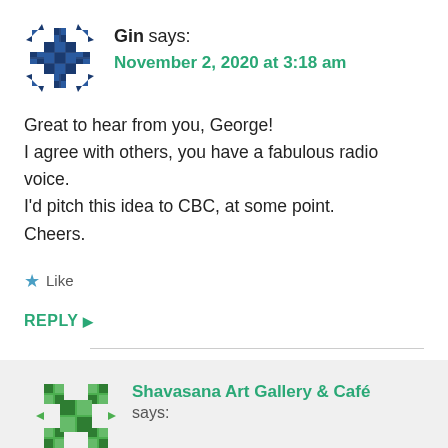[Figure (illustration): Avatar icon for user Gin — geometric snowflake/quilt pattern in dark teal/navy blue]
Gin says:
November 2, 2020 at 3:18 am
Great to hear from you, George!
I agree with others, you have a fabulous radio voice.
I'd pitch this idea to CBC, at some point.
Cheers.
★ Like
REPLY ▶
[Figure (illustration): Avatar icon for Shavasana Art Gallery & Café — geometric checkerboard pattern in green]
Shavasana Art Gallery & Café says:
November 2, 2020 at 5:48 pm